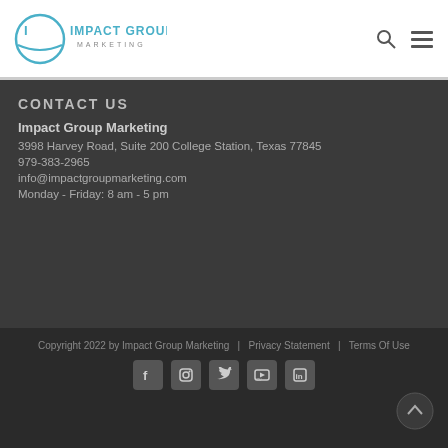[Figure (logo): Impact Group Marketing logo with IG monogram and text]
CONTACT US
Impact Group Marketing
3998 Harvey Road, Suite 200 College Station, Texas 77845
979-383-2965
info@impactgroupmarketing.com
Monday - Friday: 8 am - 5 pm
Copyright 2022 by Impact Group Marketing  |  Privacy Statement  |  Terms Of Use